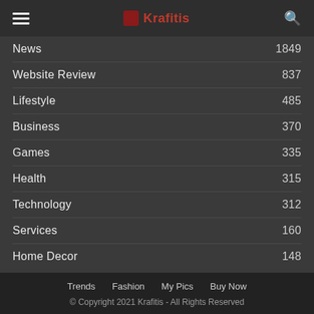Krafitis
News 1849
Website Review 837
Lifestyle 485
Business 370
Games 335
Health 315
Technology 312
Services 160
Home Decor 148
Trends  Fashion  My Pics  Buy Now
© Copyright 2021 Krafitis - All Rights Reserved